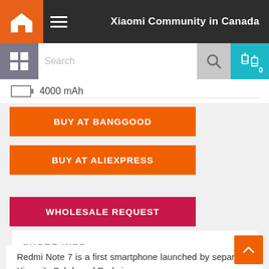Xiaomi Community in Canada
[Figure (screenshot): Search bar with grid icon, search input, search button, and compare button with badge 0]
4000 mAh
BUY AT BANGGOOD
BUY AT ALIEXPRESS
WHOLESALE REQUEST
SHORT INFO
Redmi Note 7 is a first smartphone launched by separated Xiaomi's Sub-brand Redmi.